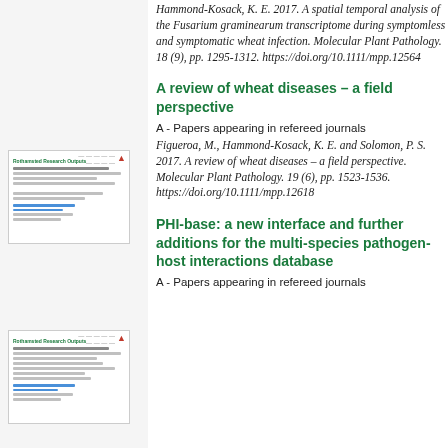Hammond-Kosack, K. E. 2017. A spatial temporal analysis of the Fusarium graminearum transcriptome during symptomless and symptomatic wheat infection. Molecular Plant Pathology. 18 (9), pp. 1295-1312. https://doi.org/10.1111/mpp.12564
[Figure (screenshot): Thumbnail of a research paper page]
A review of wheat diseases – a field perspective
A - Papers appearing in refereed journals
Figueroa, M., Hammond-Kosack, K. E. and Solomon, P. S. 2017. A review of wheat diseases – a field perspective. Molecular Plant Pathology. 19 (6), pp. 1523-1536. https://doi.org/10.1111/mpp.12618
[Figure (screenshot): Thumbnail of a research paper page]
PHI-base: a new interface and further additions for the multi-species pathogen-host interactions database
A - Papers appearing in refereed journals